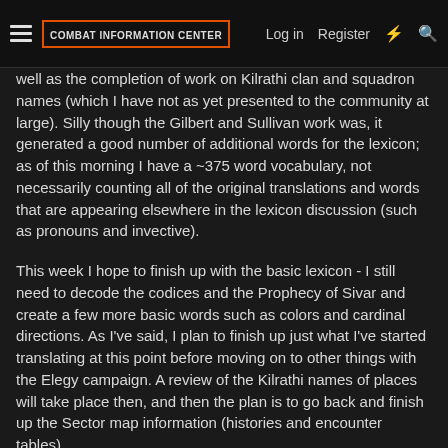COMBAT INFORMATION CENTER | Log in | Register
well as the completion of work on Kilrathi clan and squadron names (which I have not as yet presented to the community at large). Silly though the Gilbert and Sullivan work was, it generated a good number of additional words for the lexicon; as of this morning I have a ~375 word vocabulary, not necessarily counting all of the original translations and words that are appearing elsewhere in the lexicon discussion (such as pronouns and invective).
This week I hope to finish up with the basic lexicon - I still need to decode the codices and the Prophecy of Sivar and create a few more basic words such as colors and cardinal directions. As I've said, I plan to finish up just what I've started translating at this point before moving on to other things with the Elegy campaign. A review of the Kilrathi names of places will take place then, and then the plan is to go back and finish up the Sector map information (histories and encounter tables).
That's it for this week; next update sometime between 11-14Z on January 29th.